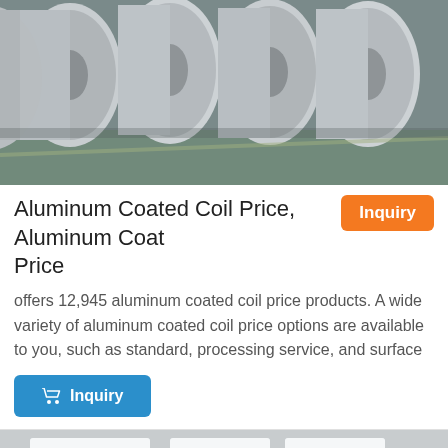[Figure (photo): Rolls of aluminum coated coil stacked in a warehouse/factory setting, viewed from the front at an angle, showing silver metallic coils on a green-tinted floor.]
Aluminum Coated Coil Price, Aluminum Coated Coil Price
offers 12,945 aluminum coated coil price products. A wide variety of aluminum coated coil price options are available to you, such as standard, processing service, and surface
[Figure (photo): Interior of a bright industrial facility or cleanroom with fluorescent ceiling lights, white walls, and machinery visible including what appears to be an orange piece of equipment on the right side.]